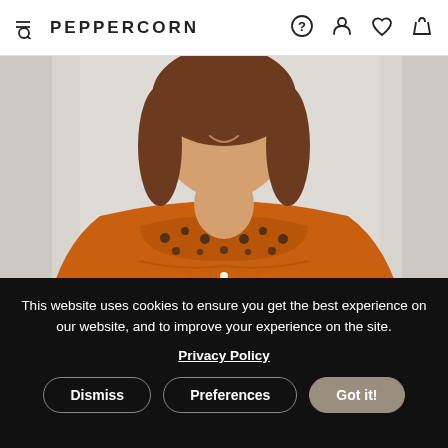PEPPERCORN
[Figure (photo): Woman wearing an orange button-up blouse with eyelet lace detail on the yoke and cuffs, smiling, photographed against a light gray background.]
This website uses cookies to ensure you get the best experience on our website, and to improve your experience on the site.
Privacy Policy
Dismiss   Preferences   Got it!